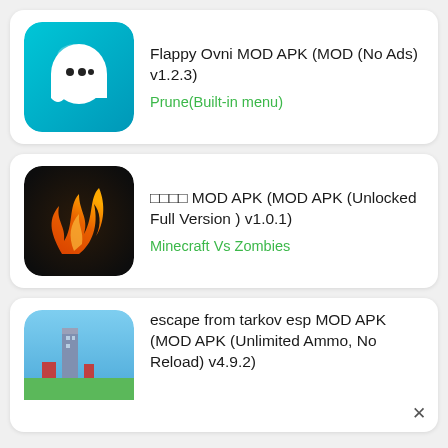[Figure (screenshot): App listing card 1: Flappy Ovni ghost game icon on teal background]
Flappy Ovni MOD APK (MOD (No Ads) v1.2.3)
Prune(Built-in menu)
[Figure (screenshot): App listing card 2: Fire emblem / flame logo on dark background]
□□□□ MOD APK (MOD APK (Unlocked Full Version ) v1.0.1)
Minecraft Vs Zombies
[Figure (screenshot): App listing card 3 (partial): escape from tarkov esp game icon, cityscape on blue background]
escape from tarkov esp MOD APK (MOD APK (Unlimited Ammo, No Reload) v4.9.2)